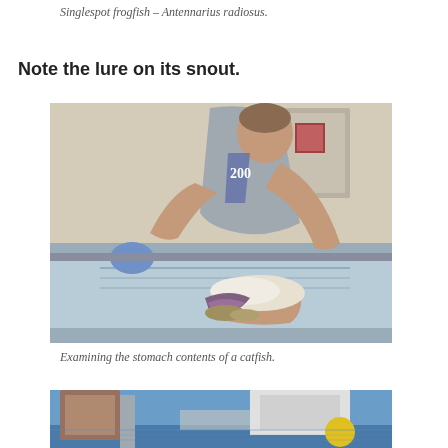Singlespot frogfish – Antennarius radiosus.
Note the lure on its snout.
[Figure (photo): A person in a gray sleeveless shirt examining the stomach contents of a catfish on a metal tray, holding the opened stomach in one hand.]
Examining the stomach contents of a catfish.
[Figure (photo): Partial view of fishing gear or equipment on a boat with ocean visible in the background.]